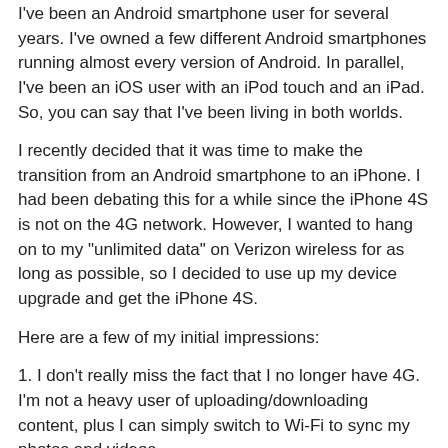I've been an Android smartphone user for several years. I've owned a few different Android smartphones running almost every version of Android. In parallel, I've been an iOS user with an iPod touch and an iPad. So, you can say that I've been living in both worlds.
I recently decided that it was time to make the transition from an Android smartphone to an iPhone. I had been debating this for a while since the iPhone 4S is not on the 4G network. However, I wanted to hang on to my "unlimited data" on Verizon wireless for as long as possible, so I decided to use up my device upgrade and get the iPhone 4S.
Here are a few of my initial impressions:
1. I don't really miss the fact that I no longer have 4G. I'm not a heavy user of uploading/downloading content, plus I can simply switch to Wi-Fi to sync my photos and videos.
2. Compared to most Android smartphones that have larger screens, the font on the iPhone 4S is tiny. The screen on the iPhone is smaller (3.5 inches vs. 4+ inches on Android phones). The iOS is also smaller. When I first...